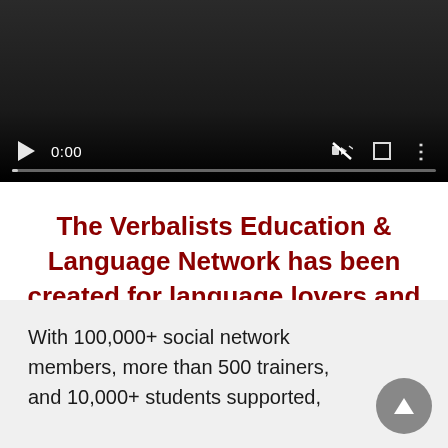[Figure (screenshot): Video player with dark background showing play button, 0:00 timestamp, mute icon, fullscreen icon, more options icon, and a progress bar at the bottom]
The Verbalists Education & Language Network has been created for language lovers and all those wishing to improve their communication skills.
With 100,000+ social network members, more than 500 trainers, and 10,000+ students supported,